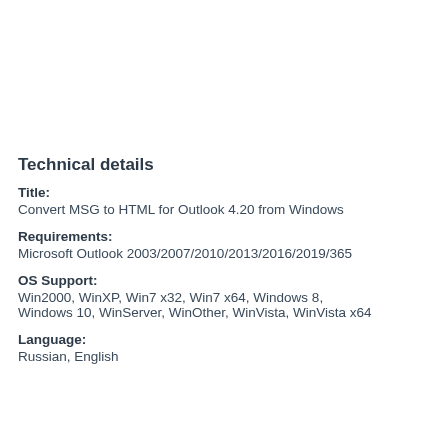Technical details
Title:
Convert MSG to HTML for Outlook 4.20 from Windows
Requirements:
Microsoft Outlook 2003/2007/2010/2013/2016/2019/365
OS Support:
Win2000, WinXP, Win7 x32, Win7 x64, Windows 8, Windows 10, WinServer, WinOther, WinVista, WinVista x64
Language:
Russian, English